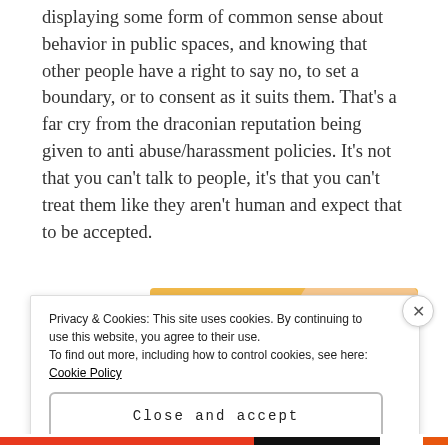displaying some form of common sense about behavior in public spaces, and knowing that other people have a right to say no, to set a boundary, or to consent as it suits them. That's a far cry from the draconian reputation being given to anti abuse/harassment policies. It's not that you can't talk to people, it's that you can't treat them like they aren't human and expect that to be accepted.
[Figure (illustration): WordPress advertisement banner with colorful abstract blobs (peach, pink, lavender) on an orange-yellow background. Text reads 'WordPress in the back.' in bold black font.]
Privacy & Cookies: This site uses cookies. By continuing to use this website, you agree to their use.
To find out more, including how to control cookies, see here: Cookie Policy
Close and accept